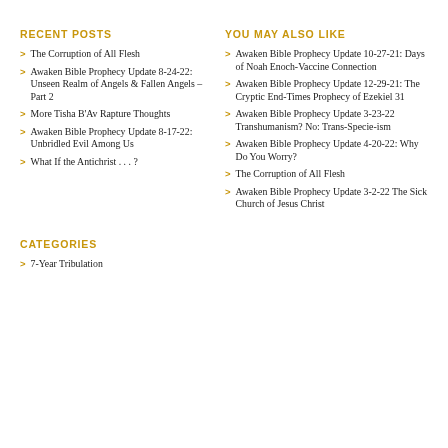RECENT POSTS
The Corruption of All Flesh
Awaken Bible Prophecy Update 8-24-22: Unseen Realm of Angels & Fallen Angels – Part 2
More Tisha B'Av Rapture Thoughts
Awaken Bible Prophecy Update 8-17-22: Unbridled Evil Among Us
What If the Antichrist . . . ?
YOU MAY ALSO LIKE
Awaken Bible Prophecy Update 10-27-21: Days of Noah Enoch-Vaccine Connection
Awaken Bible Prophecy Update 12-29-21: The Cryptic End-Times Prophecy of Ezekiel 31
Awaken Bible Prophecy Update 3-23-22 Transhumanism? No: Trans-Specie-ism
Awaken Bible Prophecy Update 4-20-22: Why Do You Worry?
The Corruption of All Flesh
Awaken Bible Prophecy Update 3-2-22 The Sick Church of Jesus Christ
CATEGORIES
7-Year Tribulation